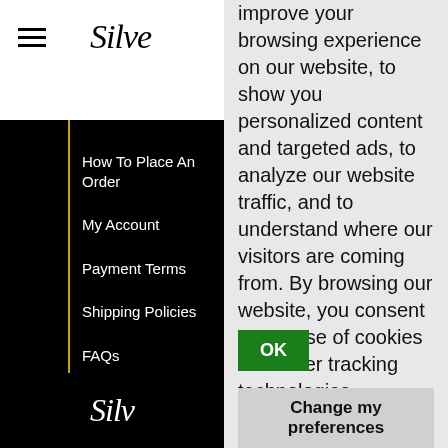Silver [logo]
How To Place An Order
My Account
Payment Terms
Shipping Policies
FAQs
Our Guarantee
Sales Tax by State
Privacy Policy
improve your browsing experience on our website, to show you personalized content and targeted ads, to analyze our website traffic, and to understand where our visitors are coming from. By browsing our website, you consent to our use of cookies and other tracking technologies.
OK
Change my preferences